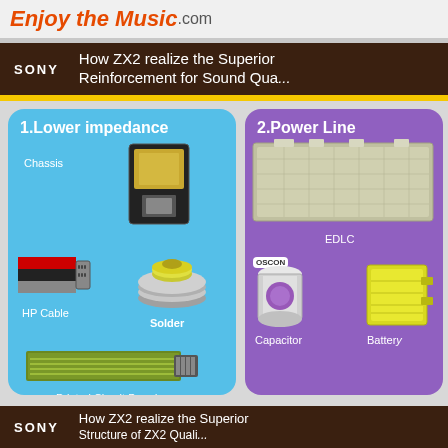Enjoy the Music.com
[Figure (infographic): Sony ZX2 infographic showing components for superior reinforcement for sound quality: Section 1 - Lower impedance (Chassis, HP Cable, Solder, Printed Circuit Board); Section 2 - Power Line (EDLC, Capacitor, Battery with OSCON)]
SONY How ZX2 realize the Superior Structure of ZX2 Quali...